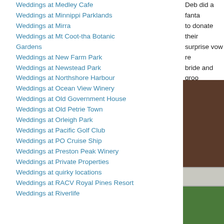Weddings at Medley Cafe
Weddings at Minnippi Parklands
Weddings at Mirra
Weddings at Mt Coot-tha Botanic Gardens
Weddings at New Farm Park
Weddings at Newstead Park
Weddings at Northshore Harbour
Weddings at Ocean View Winery
Weddings at Old Government House
Weddings at Old Petrie Town
Weddings at Orleigh Park
Weddings at Pacific Golf Club
Weddings at PO Cruise Ship
Weddings at Preston Peak Winery
Weddings at Private Properties
Weddings at quirky locations
Weddings at RACV Royal Pines Resort
Weddings at Riverlife
Deb did a fanta... to donate their... surprise vow re... bride and groo...
[Figure (photo): Close-up photo of a wooden fence post with white painted rails and green grass below]